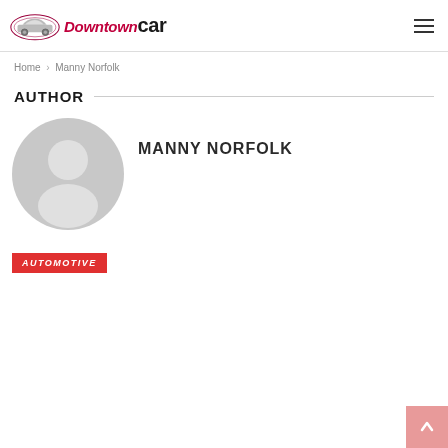Downtown Car — navigation header with logo and hamburger menu
Home > Manny Norfolk
AUTHOR
[Figure (illustration): Generic grey user avatar circle with person silhouette]
MANNY NORFOLK
AUTOMOTIVE